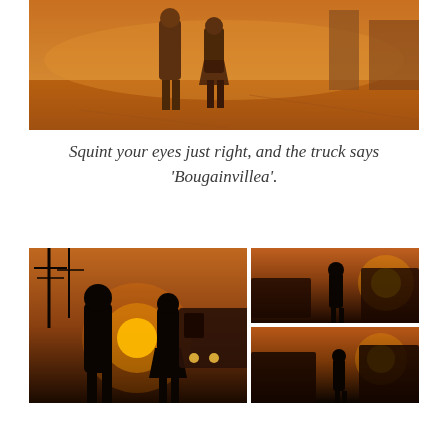[Figure (photo): Two people walking away from camera on a sun-drenched industrial lot with warm orange light, viewed from behind]
Squint your eyes just right, and the truck says ‘Bougainvillea’.
[Figure (photo): Three film stills: large left image of two silhouetted people facing a setting sun with a semi-truck behind them; top-right image of a lone woman figure walking near trucks; bottom-right image of same woman figure walking near trucks in sunset light]
Squint your eyes just right, and the truck says ‘Bougainvillea’.